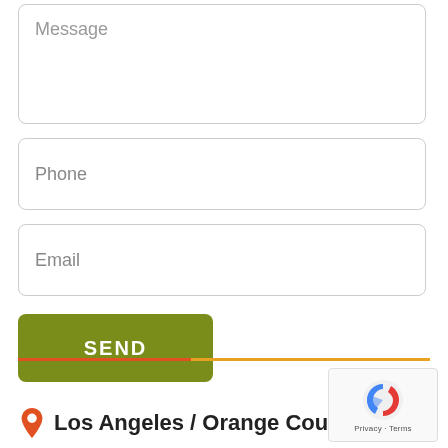Message
Phone
Email
SEND
Los Angeles / Orange County